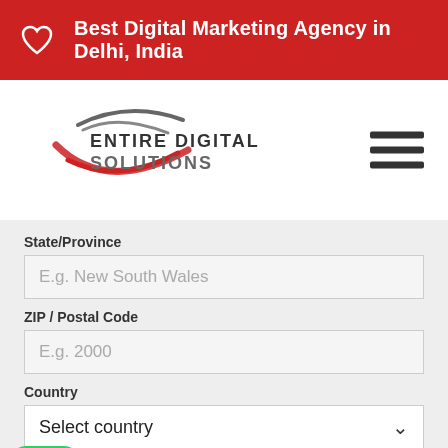Best Digital Marketing Agency in Delhi, India
[Figure (logo): Entire Digital Solutions logo with red and grey swoosh graphic]
State/Province
E.g. New South Wales
ZIP / Postal Code
E.g. 2000
Country
Select country
Message